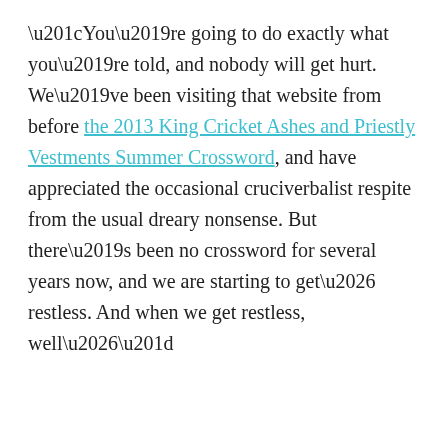“You’re going to do exactly what you’re told, and nobody will get hurt. We’ve been visiting that website from before the 2013 King Cricket Ashes and Priestly Vestments Summer Crossword, and have appreciated the occasional cruciverbalist respite from the usual dreary nonsense. But there’s been no crossword for several years now, and we are starting to get… restless. And when we get restless, well…”